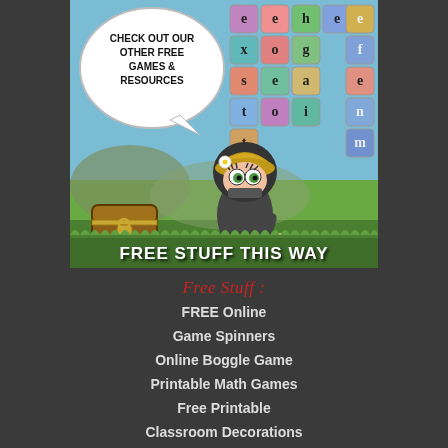[Figure (illustration): Cartoon ninja girl character standing in front of a word game tile board with colorful letter tiles. A speech bubble says 'CHECK OUT OUR OTHER FREE GAMES & RESOURCES'. A treasure chest is visible on the left. A green grass bottom banner reads 'FREE STUFF THIS WAY'.]
Free Stuff :
FREE Online
Game Spinners
Online Boggle Game
Printable Math Games
Free Printable
Classroom Decorations